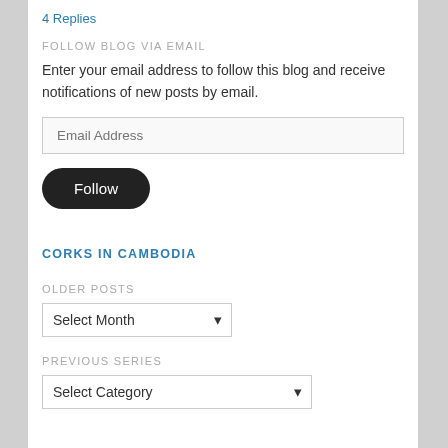4 Replies
FOLLOW BLOG VIA EMAIL
Enter your email address to follow this blog and receive notifications of new posts by email.
Email Address
Follow
CORKS IN CAMBODIA
OLDER POSTS
Select Month
PREVIOUS SERIES
Select Category